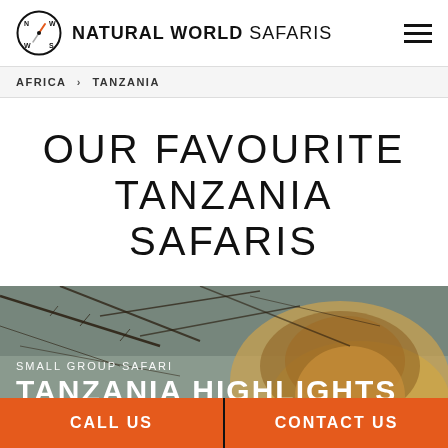NATURAL WORLD SAFARIS
AFRICA > TANZANIA
OUR FAVOURITE TANZANIA SAFARIS
[Figure (photo): A lion photographed from below looking up through thorny branches, with golden mane visible against a grey sky. Overlay text reads: SMALL GROUP SAFARI / TANZANIA HIGHLIGHTS]
CALL US  |  CONTACT US